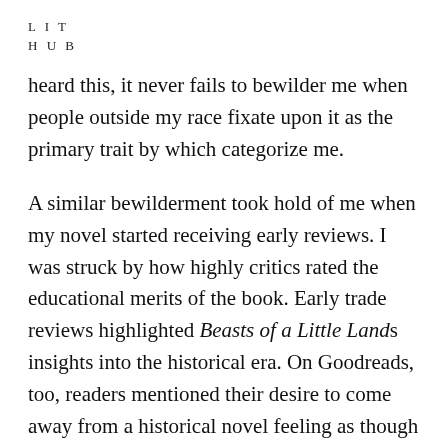L I T
H U B
heard this, it never fails to bewilder me when people outside my race fixate upon it as the primary trait by which categorize me.
A similar bewilderment took hold of me when my novel started receiving early reviews. I was struck by how highly critics rated the educational merits of the book. Early trade reviews highlighted Beasts of a Little Land's insights into the historical era. On Goodreads, too, readers mentioned their desire to come away from a historical novel feeling as though they've learned something.